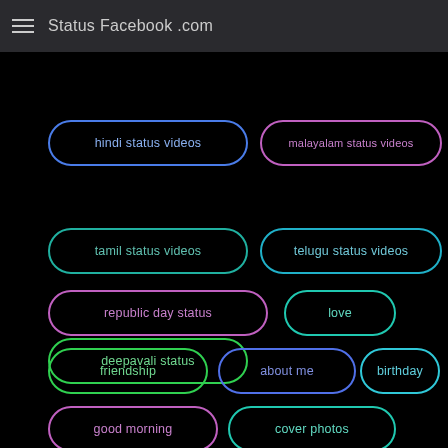Status Facebook .com
hindi status videos
malayalam status videos
tamil status videos
telugu status videos
deepavali status
republic day status
love
friendship
about me
birthday
good morning
cover photos